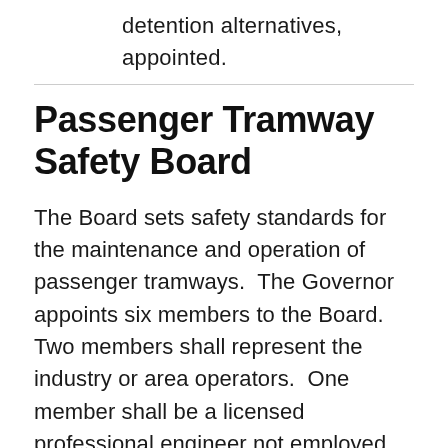detention alternatives, appointed.
Passenger Tramway Safety Board
The Board sets safety standards for the maintenance and operation of passenger tramways. The Governor appoints six members to the Board. Two members shall represent the industry or area operators. One member shall be a licensed professional engineer not employed by a ski area or related industry. One member shall be familiar with the...